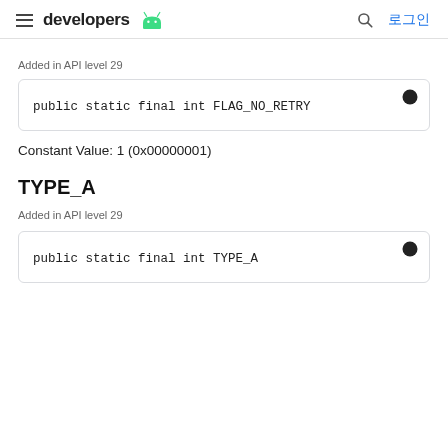developers [Android logo] | [search icon] 로그인
Added in API level 29
Constant Value: 1 (0x00000001)
TYPE_A
Added in API level 29